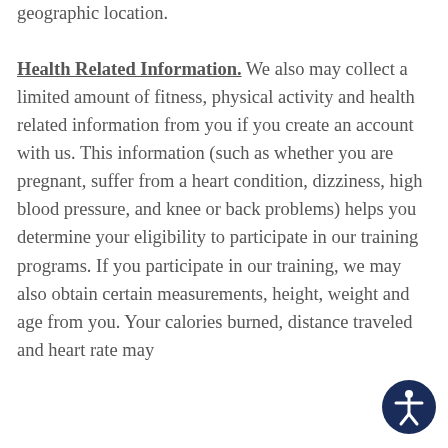geographic location.
Health Related Information. We also may collect a limited amount of fitness, physical activity and health related information from you if you create an account with us. This information (such as whether you are pregnant, suffer from a heart condition, dizziness, high blood pressure, and knee or back problems) helps you determine your eligibility to participate in our training programs. If you participate in our training, we may also obtain certain measurements, height, weight and age from you. Your calories burned, distance traveled and heart rate may